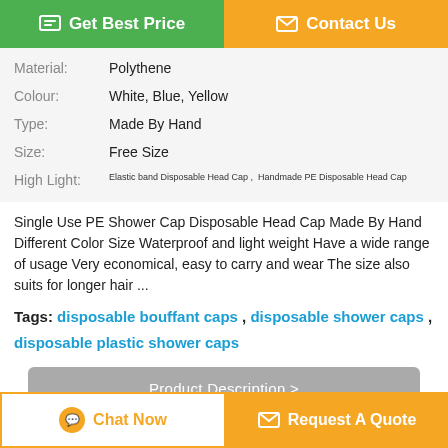[Figure (other): Get Best Price button (green) and Contact Us button (orange) at the top]
| Property | Value |
| --- | --- |
| Material: | Polythene |
| Colour: | White, Blue, Yellow |
| Type: | Made By Hand |
| Size: | Free Size |
| High Light: | Elastic band Disposable Head Cap ,  Handmade PE Disposable Head Cap |
Single Use PE Shower Cap Disposable Head Cap Made By Hand Different Color Size Waterproof and light weight Have a wide range of usage Very economical, easy to carry and wear The size also suits for longer hair ...
Tags: disposable bouffant caps , disposable shower caps , disposable plastic shower caps
Product Description >
Get the Best Price for
[Figure (other): Chat Now button and Request A Quote button at the bottom]